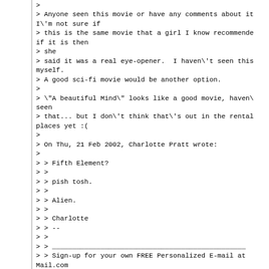>
> Anyone seen this movie or have any comments about it I\'m not sure if
> this is the same movie that a girl I know recommended if it is then
> she
> said it was a real eye-opener.  I haven\'t seen this myself.
> A good sci-fi movie would be another option.
>
> \"A beautiful Mind\" looks like a good movie, haven\'t seen
> that... but I don\'t think that\'s out in the rental places yet :(
>
> On Thu, 21 Feb 2002, Charlotte Pratt wrote:
>
> > Fifth Element?
> >
> > pish tosh.
> >
> > Alien.
> >
> > Charlotte
> > --
> >
> > ________________________________________________
> > Sign-up for your own FREE Personalized E-mail at Mail.com
> > http://www.mail.com/?sr=signup